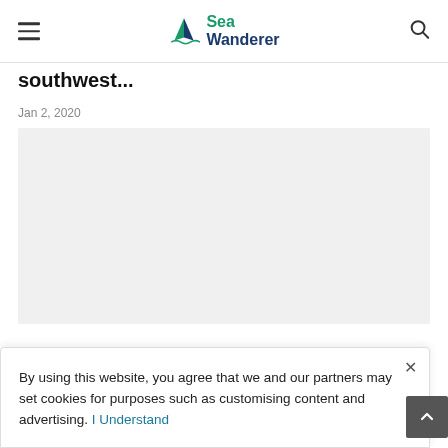Sea Wanderer
southwest...
Jan 2, 2020
[Figure (other): Gray placeholder image rectangle]
By using this website, you agree that we and our partners may set cookies for purposes such as customising content and advertising. I Understand
fully afloat and under way
Mar 29, 2021